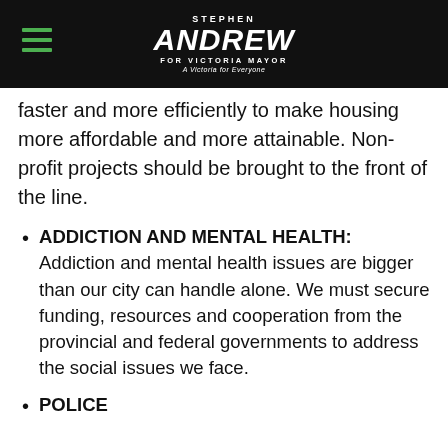STEPHEN ANDREW FOR VICTORIA MAYOR - A Victoria for Everyone
faster and more efficiently to make housing more affordable and more attainable. Non-profit projects should be brought to the front of the line.
ADDICTION AND MENTAL HEALTH: Addiction and mental health issues are bigger than our city can handle alone. We must secure funding, resources and cooperation from the provincial and federal governments to address the social issues we face.
POLICE